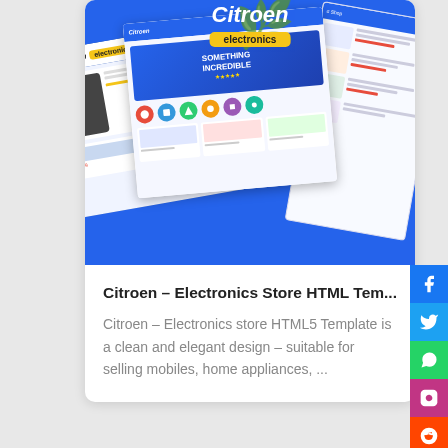[Figure (screenshot): Screenshot mockup of Citroen Electronics Store HTML template showing blue e-commerce website design with product listings, hero section, and multiple page views arranged at angles]
Citroen – Electronics Store HTML Tem...
Citroen – Electronics store HTML5 Template is a clean and elegant design – suitable for selling mobiles, home appliances, ...